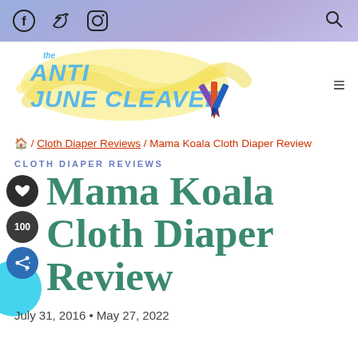The Anti June Cleaver — navigation bar with Facebook, Twitter, Instagram icons and search
[Figure (logo): The Anti June Cleaver blog logo with colorful crayons and yellow swirl background]
🏠 / Cloth Diaper Reviews / Mama Koala Cloth Diaper Review
CLOTH DIAPER REVIEWS
Mama Koala Cloth Diaper Review
July 31, 2016 • May 27, 2022